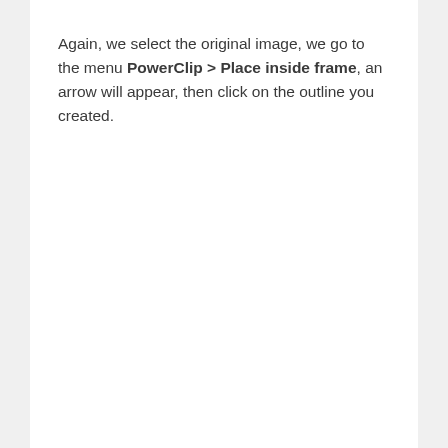Again, we select the original image, we go to the menu PowerClip > Place inside frame, an arrow will appear, then click on the outline you created.